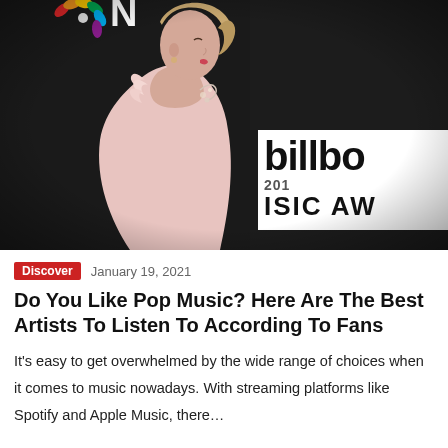[Figure (photo): A woman in a pink gown at the Billboard Music Awards red carpet event. NBC peacock logo and Billboard signage visible in background.]
Discover   January 19, 2021
Do You Like Pop Music? Here Are The Best Artists To Listen To According To Fans
It's easy to get overwhelmed by the wide range of choices when it comes to music nowadays. With streaming platforms like Spotify and Apple Music, there…